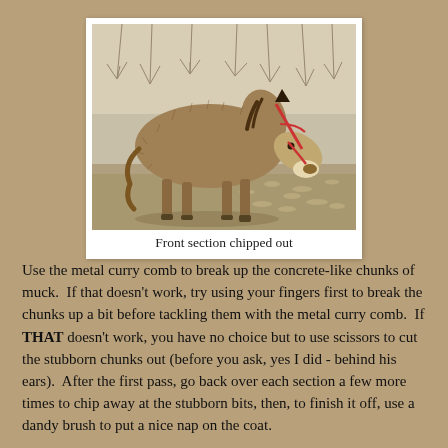[Figure (photo): A shaggy, thick-coated horse or pony with a reddish-brown/dun coat, wearing a red halter, standing on a gravel surface with bare trees in the background. Side profile view.]
Front section chipped out
Use the metal curry comb to break up the concrete-like chunks of muck.  If that doesn't work, try using your fingers first to break the chunks up a bit before tackling them with the metal curry comb.  If THAT doesn't work, you have no choice but to use scissors to cut the stubborn chunks out (before you ask, yes I did - behind his ears).  After the first pass, go back over each section a few more times to chip away at the stubborn bits, then, to finish it off, use a dandy brush to put a nice nap on the coat.